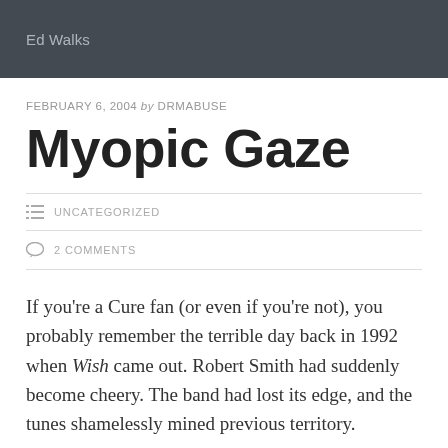Ed Walks
FEBRUARY 6, 2004 by DRMABUSE
Myopic Gaze
UNCATEGORIZED
2 COMMENTS
If you're a Cure fan (or even if you're not), you probably remember the terrible day back in 1992 when Wish came out. Robert Smith had suddenly become cheery. The band had lost its edge, and the tunes shamelessly mined previous territory.